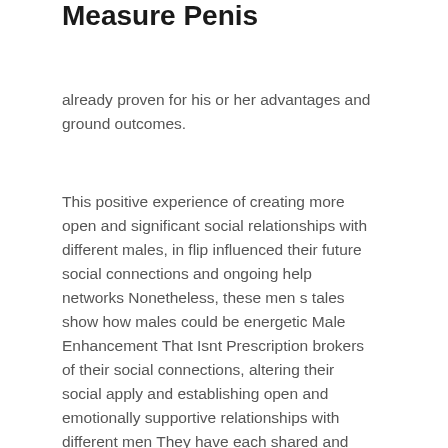Measure Penis
already proven for his or her advantages and ground outcomes.
This positive experience of creating more open and significant social relationships with different males, in flip influenced their future social connections and ongoing help networks Nonetheless, these men s tales show how males could be energetic Male Enhancement That Isnt Prescription brokers of their social connections, altering their social apply and establishing open and emotionally supportive relationships with different men They have each shared and distinctive experiences and situations that have an effect on their bodily and psychological well being needs as well as their